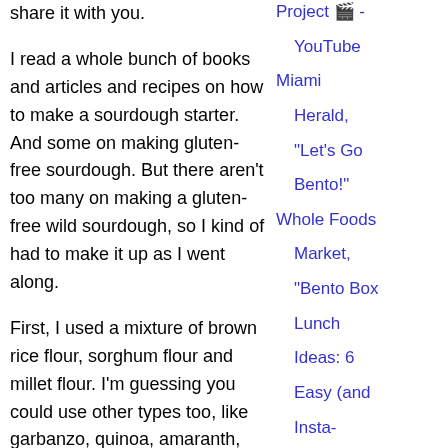share it with you.
I read a whole bunch of books and articles and recipes on how to make a sourdough starter. And some on making gluten-free sourdough. But there aren't too many on making a gluten-free wild sourdough, so I kind of had to make it up as I went along.
First, I used a mixture of brown rice flour, sorghum flour and millet flour. I'm guessing you could use other types too, like garbanzo, quinoa, amaranth, white rice, etc. I
Project 🎬 - YouTube
Miami Herald, "Let's Go Bento!"
Whole Foods Market, "Bento Box Lunch Ideas: 6 Easy (and Insta-worthy!) Options"
PBS.org, PBS